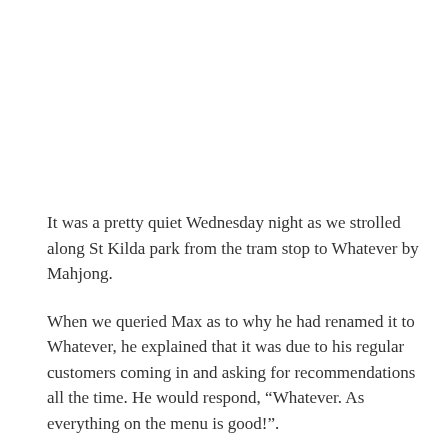It was a pretty quiet Wednesday night as we strolled along St Kilda park from the tram stop to Whatever by Mahjong.
When we queried Max as to why he had renamed it to Whatever, he explained that it was due to his regular customers coming in and asking for recommendations all the time. He would respond, “Whatever. As everything on the menu is good!”.
This word could also truly be a reflection of Max’s